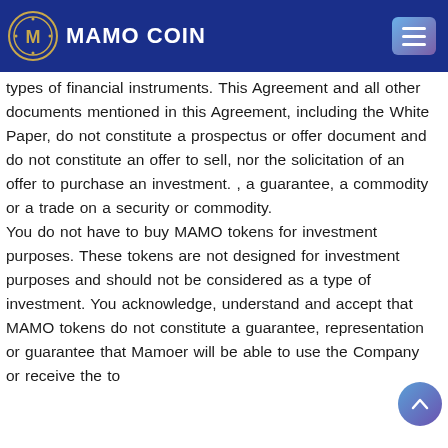MAMO COIN
types of financial instruments. This Agreement and all other documents mentioned in this Agreement, including the White Paper, do not constitute a prospectus or offer document and do not constitute an offer to sell, nor the solicitation of an offer to purchase an investment. , a guarantee, a commodity or a trade on a security or commodity. You do not have to buy MAMO tokens for investment purposes. These tokens are not designed for investment purposes and should not be considered as a type of investment. You acknowledge, understand and accept that MAMO tokens do not constitute a guarantee, representation or guarantee that Mamoer will be able to use the Company or receive the tokens by the Company.